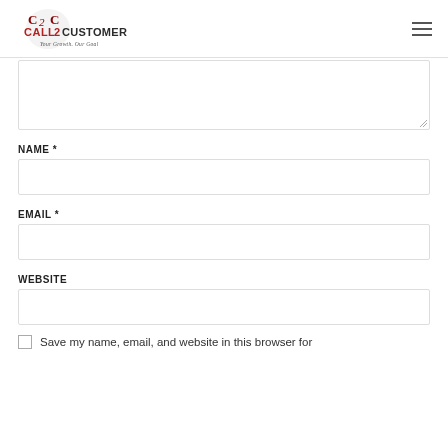[Figure (logo): Call2Customer logo with tagline 'Your Growth. Our Goal']
NAME *
EMAIL *
WEBSITE
Save my name, email, and website in this browser for